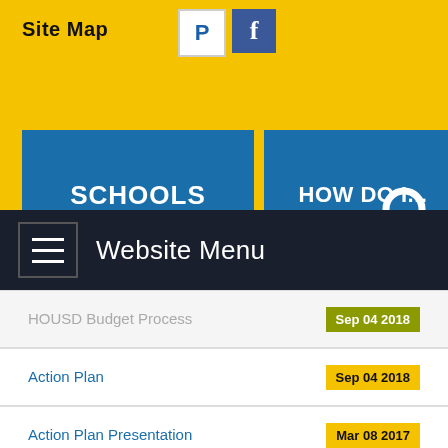Site Map
[Figure (screenshot): Website navigation header with SCHOOLS and HOW DO I... buttons on yellow background, hamburger Website Menu nav bar]
HOUSD Budget Process | Sep 04 2018
Action Plan | Sep 04 2018
Action Plan Presentation | Mar 08 2017
Community Coalition Fall Newsletter | Nov 16 2016
Key Themes: Community Conversations | May 13 2016
HUHS Acknowledged For Their Efforts With Student Voice | Apr 26 2016